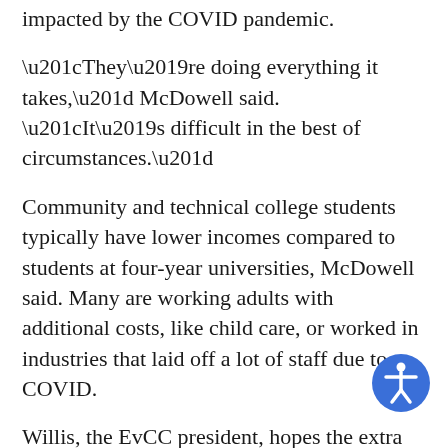impacted by the COVID pandemic.
“They’re doing everything it takes,” McDowell said. “It’s difficult in the best of circumstances.”
Community and technical college students typically have lower incomes compared to students at four-year universities, McDowell said. Many are working adults with additional costs, like child care, or worked in industries that laid off a lot of staff due to COVID.
Willis, the EvCC president, hopes the extra support can give people a fresh start. Students of color held more than half the debt at EvCC, even though they only accounted for one-third of the college’s student body.
“That is another reason why it just made sense to pay the debt,” Willis said. “… It just shows they (people of